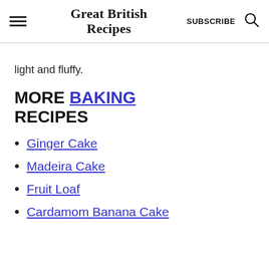Great British Recipes | SUBSCRIBE
light and fluffy.
MORE BAKING RECIPES
Ginger Cake
Madeira Cake
Fruit Loaf
Cardamom Banana Cake